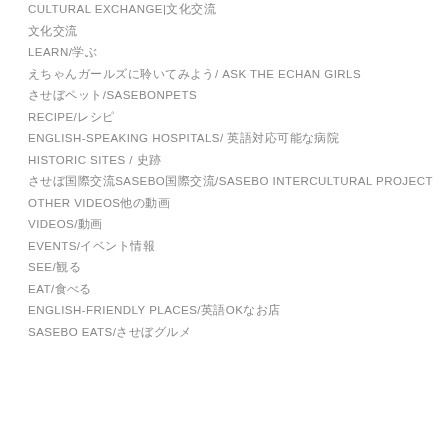CULTURAL EXCHANGE|文化交流
文化交流
LEARN/学ぶ
えちゃんガールズに聞いてみよう/ ASK THE ECHAN GIRLS
させぼペット/SASEBONPETS
RECIPE/レシピ
ENGLISH-SPEAKING HOSPITALS/ 英語対応可能な病院
HISTORIC SITES / 史跡
させぼ国際交流SASEBO国際交流/SASEBO INTERCULTURAL PROJECT
OTHER VIDEOS他の動画
VIDEOS/動画
EVENTS/イベント情報
SEE/観る
EAT/食べる
ENGLISH-FRIENDLY PLACES/英語OKなお店
SASEBO EATS/させぼグルメ